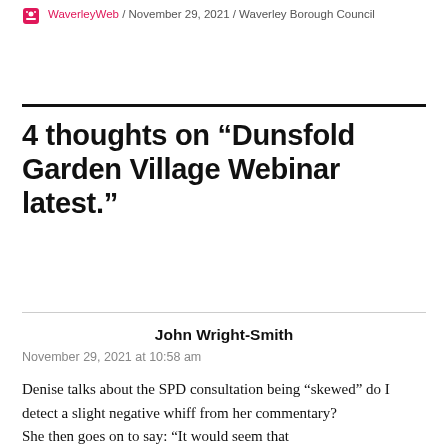WaverleyWeb / November 29, 2021 / Waverley Borough Council
4 thoughts on “Dunsfold Garden Village Webinar latest.”
John Wright-Smith
November 29, 2021 at 10:58 am
Denise talks about the SPD consultation being “skewed” do I detect a slight negative whiff from her commentary?
She then goes on to say: “It would seem that